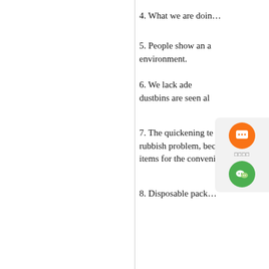4. What we are doin…
5. People show an ap… environment.
6. We lack ade… dustbins are seen al…
7. The quickening te… rubbish problem, because… items for the convenience…
8. Disposable pack…